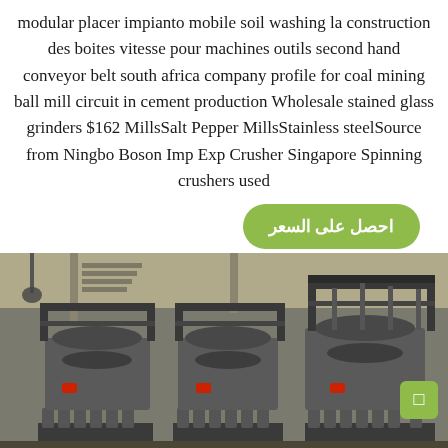modular placer impianto mobile soil washing la construction des boites vitesse pour machines outils second hand conveyor belt south africa company profile for coal mining ball mill circuit in cement production Wholesale stained glass grinders $162 MillsSalt Pepper MillsStainless steelSource from Ningbo Boson Imp Exp Crusher Singapore Spinning crushers used
[Figure (other): Green rounded button with Arabic text reading احصل على السعر (Get the price)]
[Figure (photo): Photograph of three large industrial cone crushers/spinning crushers arranged side by side in a factory or warehouse setting, metallic grey machinery with spring bases]